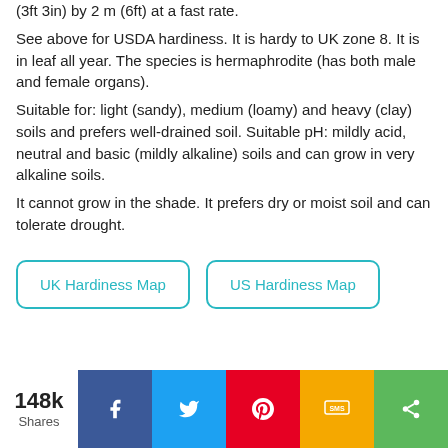(3ft 3in) by 2 m (6ft) at a fast rate.
See above for USDA hardiness. It is hardy to UK zone 8. It is in leaf all year. The species is hermaphrodite (has both male and female organs).
Suitable for: light (sandy), medium (loamy) and heavy (clay) soils and prefers well-drained soil. Suitable pH: mildly acid, neutral and basic (mildly alkaline) soils and can grow in very alkaline soils.
It cannot grow in the shade. It prefers dry or moist soil and can tolerate drought.
UK Hardiness Map
US Hardiness Map
148k Shares